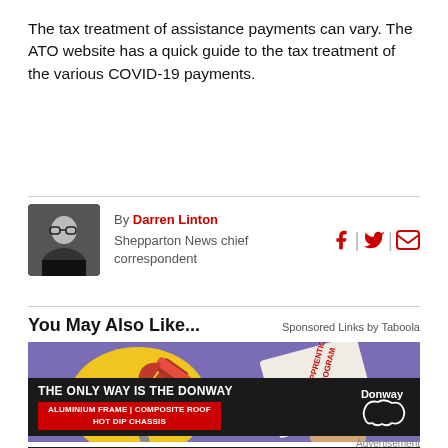The tax treatment of assistance payments can vary. The ATO website has a quick guide to the tax treatment of the various COVID-19 payments.
By Darren Linton
Shepparton News chief correspondent
You May Also Like...
Sponsored Links by Taboola
[Figure (illustration): Advertisement image showing plumbing tools (wrench) on yellow circle and a hand holding an Apprenticeship Program booklet on purple background]
[Figure (illustration): Donway advertisement: THE ONLY WAY IS THE DONWAY - ALUMINIUM FRAME | COMPOSITE ROOF | HOT DIP CHASSIS with Donway logo]
Advertisement